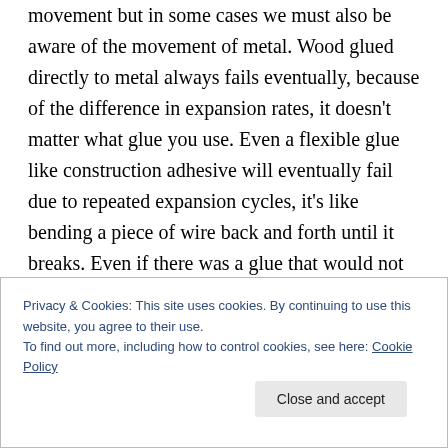movement but in some cases we must also be aware of the movement of metal. Wood glued directly to metal always fails eventually, because of the difference in expansion rates, it doesn't matter what glue you use. Even a flexible glue like construction adhesive will eventually fail due to repeated expansion cycles, it's like bending a piece of wire back and forth until it breaks. Even if there was a glue that would not fail the difference in expansion rates would cause the object to warp and deform. When laminating metal to wood one must allow for movement. We must also consider the effects of compression set. If
Privacy & Cookies: This site uses cookies. By continuing to use this website, you agree to their use.
To find out more, including how to control cookies, see here: Cookie Policy
Close and accept